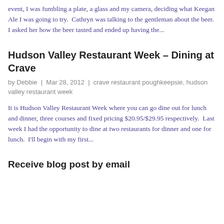event, I was fumbling a plate, a glass and my camera, deciding what Keegan Ale I was going to try.  Cathryn was talking to the gentleman about the beer.  I asked her how the beer tasted and ended up having the...
Hudson Valley Restaurant Week – Dining at Crave
by Debbie  |  Mar 28, 2012  |  crave restaurant poughkeepsie, hudson valley restaurant week
It is Hudson Valley Restaurant Week where you can go dine out for lunch and dinner, three courses and fixed pricing $20.95/$29.95 respectively.  Last week I had the opportunity to dine at two restaurants for dinner and one for lunch.  I'll begin with my first...
Receive blog post by email